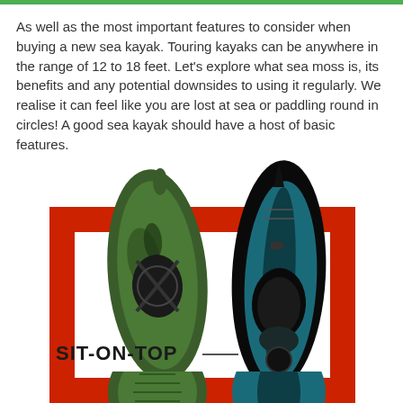As well as the most important features to consider when buying a new sea kayak. Touring kayaks can be anywhere in the range of 12 to 18 feet. Let's explore what sea moss is, its benefits and any potential downsides to using it regularly. We realise it can feel like you are lost at sea or paddling round in circles! A good sea kayak should have a host of basic features.
[Figure (photo): Top-down view of two kayaks side by side on a red bracket/frame background. Left kayak is a green camouflage sit-on-top kayak. Right kayak is a teal/dark touring kayak. Bold text reads 'SIT-ON-TOP' in the lower-left area of the image.]